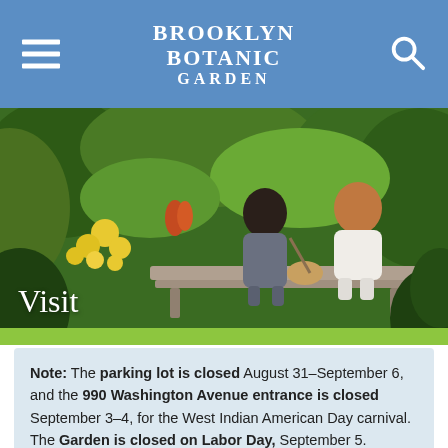Brooklyn Botanic Garden
[Figure (photo): Two women sitting on a stone bench in a lush garden with yellow flowers and green foliage in the background. The word 'Visit' appears in white text in the lower left corner of the photo.]
Note: The parking lot is closed August 31–September 6, and the 990 Washington Avenue entrance is closed September 3–4, for the West Indian American Day carnival. The Garden is closed on Labor Day, September 5.